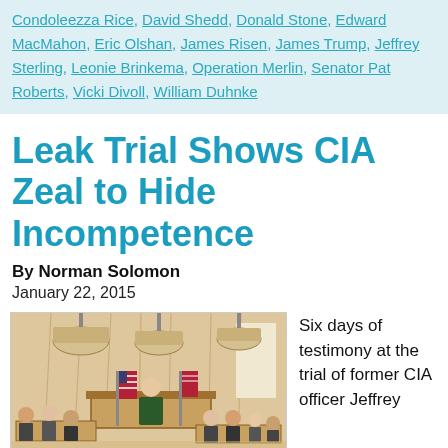Condoleezza Rice, David Shedd, Donald Stone, Edward MacMahon, Eric Olshan, James Risen, James Trump, Jeffrey Sterling, Leonie Brinkema, Operation Merlin, Senator Pat Roberts, Vicki Divoll, William Duhnke
Leak Trial Shows CIA Zeal to Hide Incompetence
By Norman Solomon
January 22, 2015
[Figure (illustration): Courtroom sketch illustration showing a judge at the bench, attorneys, and courtroom participants, with pendant light fixtures and flags visible]
Six days of testimony at the trial of former CIA officer Jeffrey